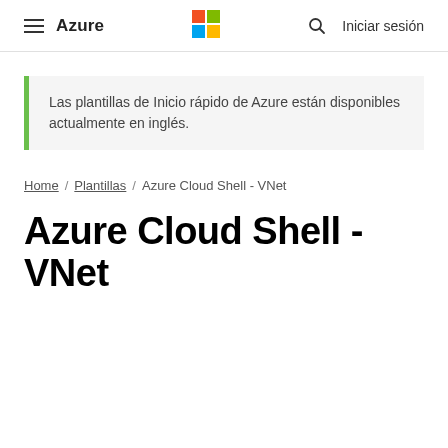≡ Azure  [Microsoft Logo]  🔍  Iniciar sesión
Las plantillas de Inicio rápido de Azure están disponibles actualmente en inglés.
Home / Plantillas / Azure Cloud Shell - VNet
Azure Cloud Shell - VNet